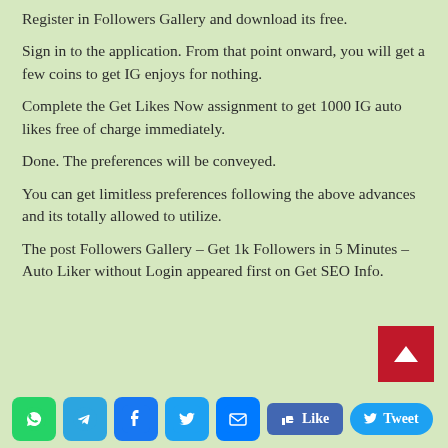Register in Followers Gallery and download its free.
Sign in to the application. From that point onward, you will get a few coins to get IG enjoys for nothing.
Complete the Get Likes Now assignment to get 1000 IG auto likes free of charge immediately.
Done. The preferences will be conveyed.
You can get limitless preferences following the above advances and its totally allowed to utilize.
The post Followers Gallery – Get 1k Followers in 5 Minutes – Auto Liker without Login appeared first on Get SEO Info.
[Figure (infographic): Social sharing bar with WhatsApp, Telegram, Facebook, Twitter, Email icons, a Like button, and a Tweet button. Also a red back-to-top arrow button in the bottom right.]